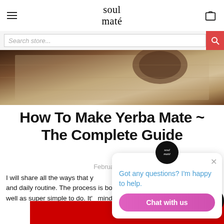soul maté
[Figure (screenshot): Search bar with 'Search store...' placeholder and pink search button]
[Figure (photo): Hero banner image showing burlap fabric texture with a wooden bowl, warm brown tones]
How To Make Yerba Mate ~ The Complete Guide
February 23,
I will share all the ways that you can incorporate this into your lifestyle and daily routine. The process is both meditative and grounding as well as super simple to do. It's mindfulness.
[Figure (screenshot): Chat widget overlay with Soul Maté logo circle, close X button, text 'Got any questions? I'm happy to help.' and pink 'Chat with us' button]